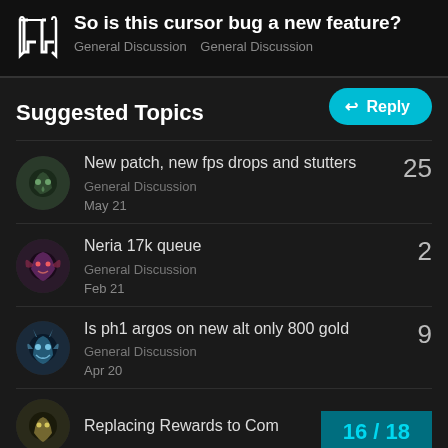So is this cursor bug a new feature? — General Discussion General Discussion
Suggested Topics
New patch, new fps drops and stutters — General Discussion — 25 replies — May 21
Neria 17k queue — General Discussion — 2 replies — Feb 21
Is ph1 argos on new alt only 800 gold — General Discussion — 9 replies — Apr 20
Replacing Rewards to Com...
16 / 18